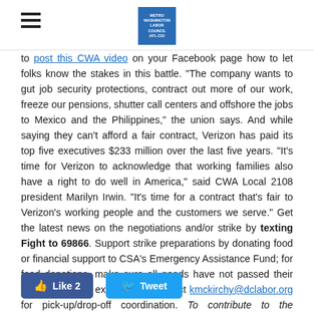[Hamburger menu icon] [CWA/DC Metro Area Labor Council logo]
to post this CWA video on your Facebook page how to let folks know the stakes in this battle. "The company wants to gut job security protections, contract out more of our work, freeze our pensions, shutter call centers and offshore the jobs to Mexico and the Philippines," the union says. And while saying they can't afford a fair contract, Verizon has paid its top five executives $233 million over the last five years. "It's time for Verizon to acknowledge that working families also have a right to do well in America," said CWA Local 2108 president Marilyn Irwin. "It's time for a contract that's fair to Verizon's working people and the customers we serve." Get the latest news on the negotiations and/or strike by texting Fight to 69866. Support strike preparations by donating food or financial support to CSA's Emergency Assistance Fund; for food donations, make sure all goods have not passed their "sell-by date" or expired, and contact kmckirchy@dclabor.org for pick-up/drop-off coordination. To contribute to the Emergency Assistance Fund, make check payable to CSA, 888 16th Street NW, Suite 520, DC 20006 and earmark "CWA strike." THIS JUST IN: A local rally has just been scheduled for 11a on Wednesday; click here.